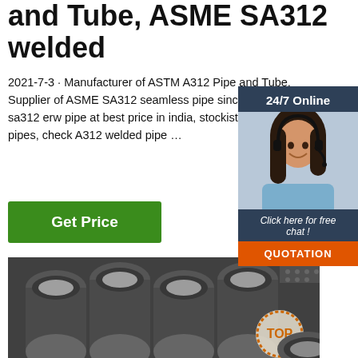and Tube, ASME SA312 welded
2021-7-3 · Manufacturer of ASTM A312 Pipe and Tube, Supplier of ASME SA312 seamless pipe since 1999, buy sa312 erw pipe at best price in india, stockist of A312 efw pipes, check A312 welded pipe …
[Figure (other): Green 'Get Price' button]
[Figure (other): 24/7 online chat popup with woman wearing headset, 'Click here for free chat!' text, and orange QUOTATION button]
[Figure (photo): Photo of stacked steel pipes/tubes (ASTM A312 seamless pipes) in an industrial setting, with a TOP badge overlay in bottom right]